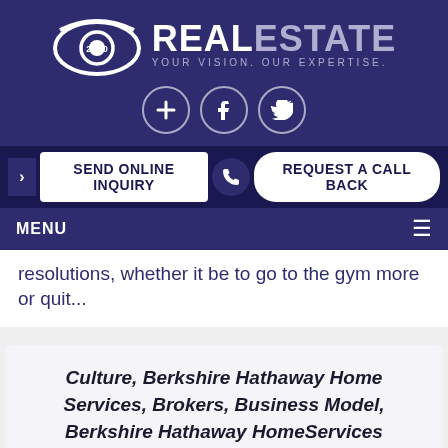[Figure (logo): 20/20 Real Estate logo with eye icon and tagline 'YOUR VISION. OUR EXPERTISE.']
[Figure (infographic): Social media icons: plus/add, Facebook, Twitter in circular outlines]
SEND ONLINE INQUIRY
REQUEST A CALL BACK
MENU
resolutions, whether it be to go to the gym more or quit...
Culture, Berkshire Hathaway Home Services, Brokers, Business Model, Berkshire Hathaway HomeServices Colonial Homes San Miguel, Business Planning, Real Estate Transactions, Real